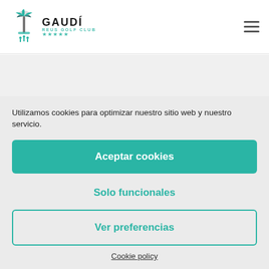[Figure (logo): Gaudí Reus Golf Club logo with palm tree icon and five stars]
Utilizamos cookies para optimizar nuestro sitio web y nuestro servicio.
Aceptar cookies
Solo funcionales
Ver preferencias
Cookie policy